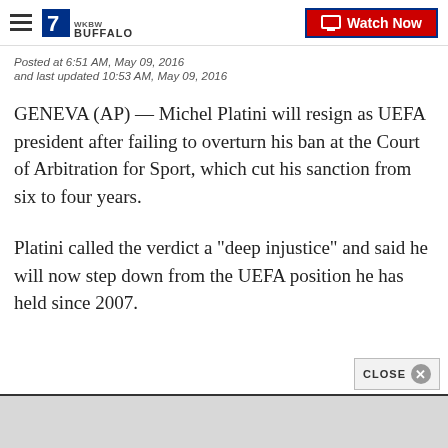7 WKBW BUFFALO | Watch Now
Posted at 6:51 AM, May 09, 2016
and last updated 10:53 AM, May 09, 2016
GENEVA (AP) — Michel Platini will resign as UEFA president after failing to overturn his ban at the Court of Arbitration for Sport, which cut his sanction from six to four years.
Platini called the verdict a "deep injustice" and said he will now step down from the UEFA position he has held since 2007.